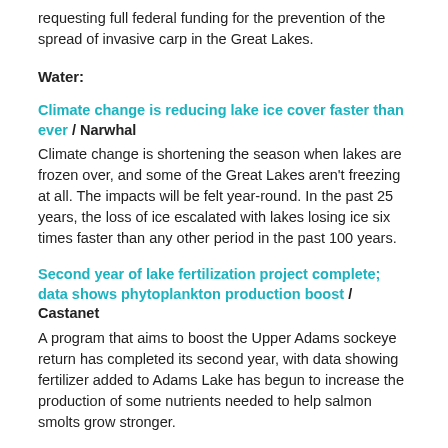requesting full federal funding for the prevention of the spread of invasive carp in the Great Lakes.
Water:
Climate change is reducing lake ice cover faster than ever / Narwhal
Climate change is shortening the season when lakes are frozen over, and some of the Great Lakes aren't freezing at all. The impacts will be felt year-round. In the past 25 years, the loss of ice escalated with lakes losing ice six times faster than any other period in the past 100 years.
Second year of lake fertilization project complete; data shows phytoplankton production boost / Castanet
A program that aims to boost the Upper Adams sockeye return has completed its second year, with data showing fertilizer added to Adams Lake has begun to increase the production of some nutrients needed to help salmon smolts grow stronger.
A class of their own—PFAS compounds an emerging concern / Water Canada
A class of chemicals used for more than half a century in everyday goods such as clothing, cosmetics, and consumer electronics is finding itself under global scrutiny. Perfluoroalkyl and polyfluoroalkyl, known